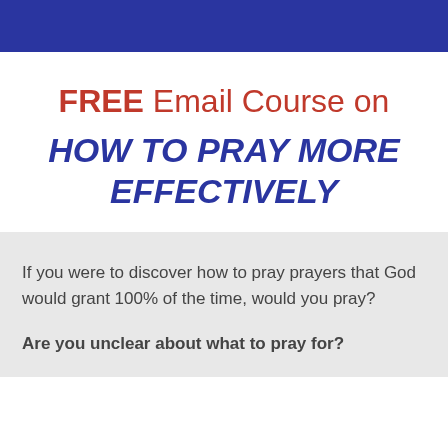FREE Email Course on HOW TO PRAY MORE EFFECTIVELY
If you were to discover how to pray prayers that God would grant 100% of the time, would you pray?
Are you unclear about what to pray for?